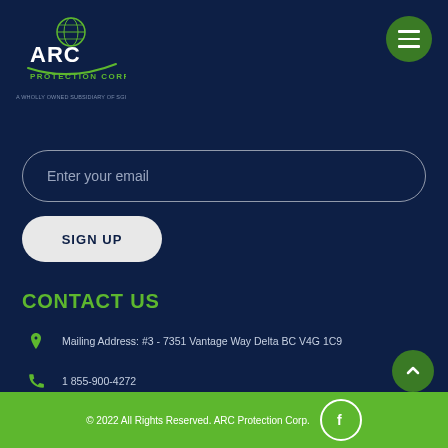[Figure (logo): ARC Protection Corp logo with green globe icon and swoosh, white text on dark navy background]
A WHOLLY OWNED SUBSIDIARY OF SGI
Enter your email
SIGN UP
CONTACT US
Mailing Address: #3 - 7351 Vantage Way Delta BC V4G 1C9
1 855-900-4272
© 2022 All Rights Reserved. ARC Protection Corp.